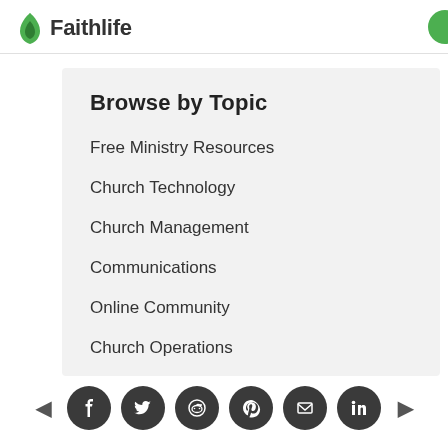Faithlife
Browse by Topic
Free Ministry Resources
Church Technology
Church Management
Communications
Online Community
Church Operations